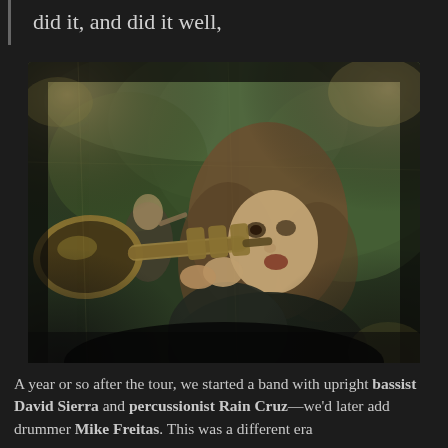did it, and did it well,
[Figure (photo): Vintage-style distressed photograph of a long-haired person holding a trumpet up close to their face, pointing it outward. In the background, another person holds what appears to be a violin. The photo has aged, worn edges with green/earthy tones.]
A year or so after the tour, we started a band with upright bassist David Sierra and percussionist Rain Cruz—we'd later add drummer Mike Freitas. This was a different era